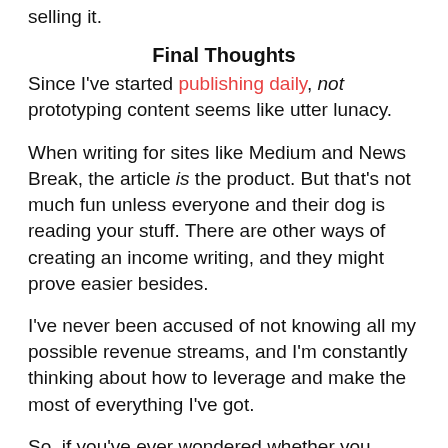selling it.
Final Thoughts
Since I've started publishing daily, not prototyping content seems like utter lunacy.
When writing for sites like Medium and News Break, the article is the product. But that's not much fun unless everyone and their dog is reading your stuff. There are other ways of creating an income writing, and they might prove easier besides.
I've never been accused of not knowing all my possible revenue streams, and I'm constantly thinking about how to leverage and make the most of everything I've got.
So, if you've ever wondered whether you